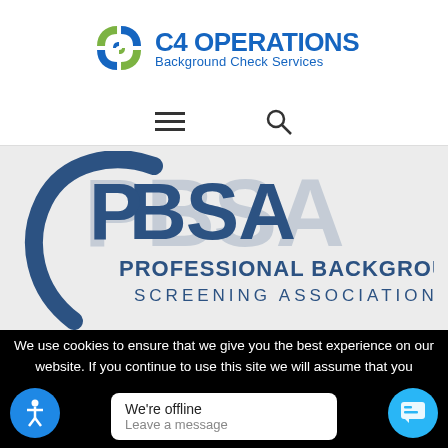[Figure (logo): C4 Operations Background Check Services logo with green and blue swirl icon]
[Figure (logo): PBSA Professional Background Screening Association logo with circular arc and large BSA text in blue]
[Figure (logo): PRRN Member logo with building/column icon]
We use cookies to ensure that we give you the best experience on our website. If you continue to use this site we will assume that you
We're offline
Leave a message